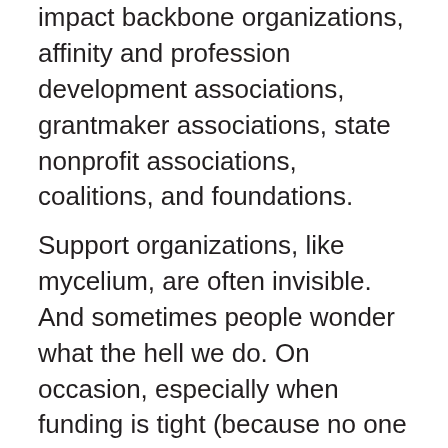impact backbone organizations, affinity and profession development associations, grantmaker associations, state nonprofit associations, coalitions, and foundations.
Support organizations, like mycelium, are often invisible. And sometimes people wonder what the hell we do. On occasion, especially when funding is tight (because no one wants to fund capacity building or advocacy or whatever) we ourselves even ponder what the point of our existence is. But we are vital to the nonprofit ecosystem because without support organizations, it will be challenging if not impossible for many direct service nonprofits to thrive. Mycelium thus provides